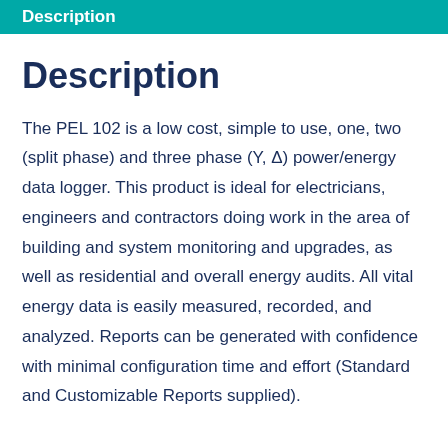Description
Description
The PEL 102 is a low cost, simple to use, one, two (split phase) and three phase (Y, Δ) power/energy data logger. This product is ideal for electricians, engineers and contractors doing work in the area of building and system monitoring and upgrades, as well as residential and overall energy audits. All vital energy data is easily measured, recorded, and analyzed. Reports can be generated with confidence with minimal configuration time and effort (Standard and Customizable Reports supplied).